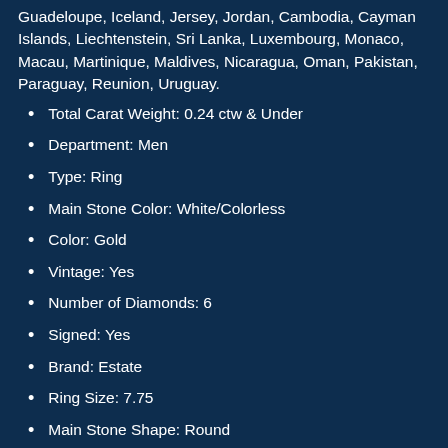Guadeloupe, Iceland, Jersey, Jordan, Cambodia, Cayman Islands, Liechtenstein, Sri Lanka, Luxembourg, Monaco, Macau, Martinique, Maldives, Nicaragua, Oman, Pakistan, Paraguay, Reunion, Uruguay.
Total Carat Weight: 0.24 ctw & Under
Department: Men
Type: Ring
Main Stone Color: White/Colorless
Color: Gold
Vintage: Yes
Number of Diamonds: 6
Signed: Yes
Brand: Estate
Ring Size: 7.75
Main Stone Shape: Round
Style: Band